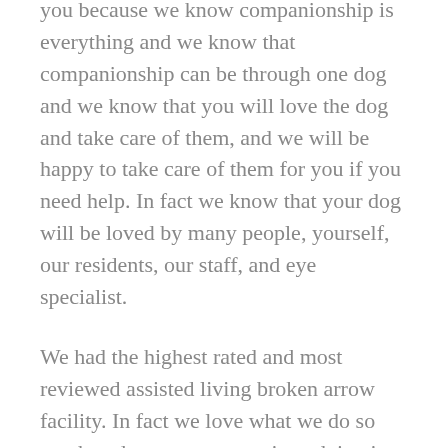you because we know companionship is everything and we know that companionship can be through one dog and we know that you will love the dog and take care of them, and we will be happy to take care of them for you if you need help. In fact we know that your dog will be loved by many people, yourself, our residents, our staff, and eye specialist.
We had the highest rated and most reviewed assisted living broken arrow facility. In fact we love what we do so much and we want to continue doing it very very long time. We are a local family owned and operated business want to be able to show you who we are and what we can do. In fact we have been saving